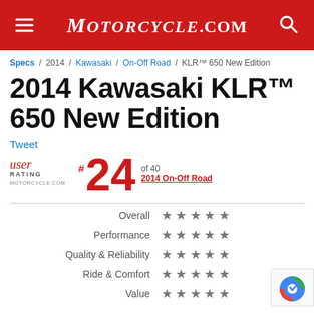Motorcycle.com
Specs / 2014 / Kawasaki / On-Off Road / KLR™ 650 New Edition
2014 Kawasaki KLR™ 650 New Edition
Tweet
User Rating Motorcycle.com #24 of 40 2014 On-Off Road
| Category | Rating |
| --- | --- |
| Overall | ★★★★★ |
| Performance | ★★★★★ |
| Quality & Reliability | ★★★★★ |
| Ride & Comfort | ★★★★★ |
| Value | ★★★★★ |